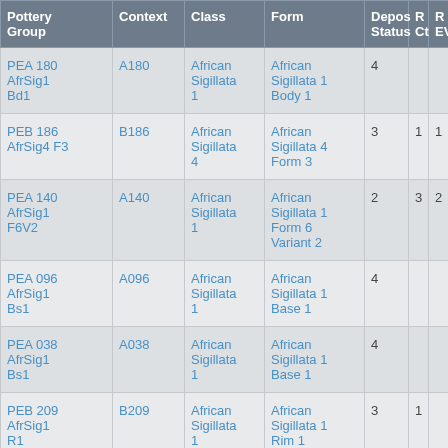| Pottery Group | Context | Class | Form | Depos Status | R Ct | R EVR |
| --- | --- | --- | --- | --- | --- | --- |
| PEA 180 AfrSig1 Bd1 | A180 | African Sigillata 1 | African Sigillata 1 Body 1 | 4 |  |  |
| PEB 186 AfrSig4 F3 | B186 | African Sigillata 4 | African Sigillata 4 Form 3 | 3 | 1 | 1 |
| PEA 140 AfrSig1 F6V2 | A140 | African Sigillata 1 | African Sigillata 1 Form 6 Variant 2 | 2 | 3 | 2 |
| PEA 096 AfrSig1 Bs1 | A096 | African Sigillata 1 | African Sigillata 1 Base 1 | 4 |  |  |
| PEA 038 AfrSig1 Bs1 | A038 | African Sigillata 1 | African Sigillata 1 Base 1 | 4 |  |  |
| PEB 209 AfrSig1 R1 | B209 | African Sigillata 1 | African Sigillata 1 Rim 1 | 3 | 1 |  |